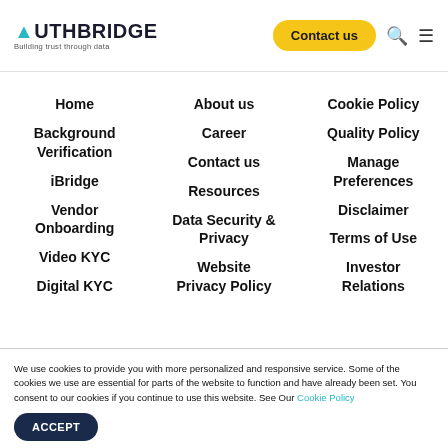AUTHBRIDGE — Building trust through data | Contact us
Home
Background Verification
iBridge
Vendor Onboarding
Video KYC
Digital KYC
About us
Career
Contact us
Resources
Data Security & Privacy
Website Privacy Policy
Cookie Policy
Quality Policy
Manage Preferences
Disclaimer
Terms of Use
Investor Relations
We use cookies to provide you with more personalized and responsive service. Some of the cookies we use are essential for parts of the website to function and have already been set. You consent to our cookies if you continue to use this website. See Our Cookie Policy
ACCEPT